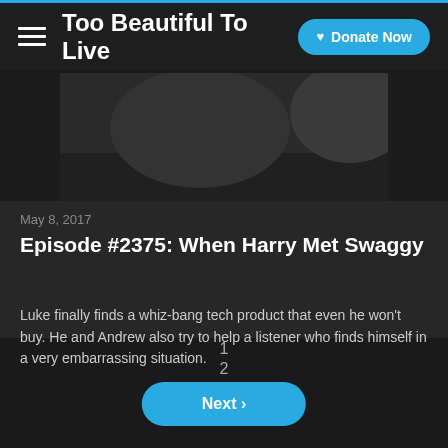Too Beautiful To Live | Donate Now
[Figure (photo): Partial image of a person playing a musical instrument, dark background]
May 8, 2017
Episode #2375: When Harry Met Swaggy
Luke finally finds a whiz-bang tech product that even he won't buy. He and Andrew also try to help a listener who finds himself in a very embarrassing situation.
1
2
Next >